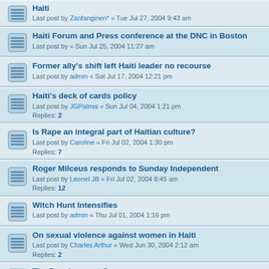Haiti
Last post by Zanfanginen* « Tue Jul 27, 2004 9:43 am
Haiti Forum and Press conference at the DNC in Boston
Last post by « Sun Jul 25, 2004 11:27 am
Former ally's shift left Haiti leader no recourse
Last post by admin « Sat Jul 17, 2004 12:21 pm
Haiti's deck of cards policy
Last post by JGPalmis « Sun Jul 04, 2004 1:21 pm
Replies: 2
Is Rape an integral part of Haitian culture?
Last post by Caroline « Fri Jul 02, 2004 1:30 pm
Replies: 7
Roger Milceus responds to Sunday Independent
Last post by Leonel JB « Fri Jul 02, 2004 8:45 am
Replies: 12
Witch Hunt Intensifies
Last post by admin « Thu Jul 01, 2004 1:16 pm
On sexual violence against women in Haiti
Last post by Charles Arthur « Wed Jun 30, 2004 2:12 am
Replies: 2
The Development Gap
Last post by « Sun Jun 27, 2004 1:06 pm
Latortue accuse: "Aristide ne connaît que le feu"
Last post by admin « Sat Jun 26, 2004 7:10 am
Family of murdered American Haitian needs your help